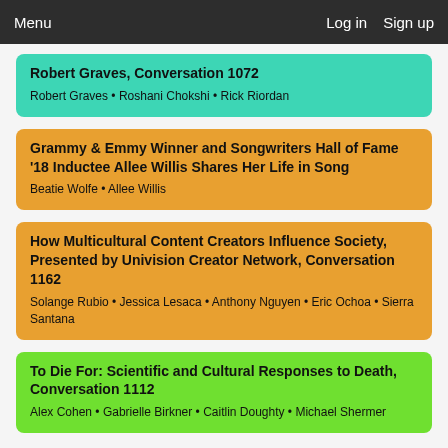Menu   Log in   Sign up
Robert Graves, Conversation 1072
Robert Graves • Roshani Chokshi • Rick Riordan
Grammy & Emmy Winner and Songwriters Hall of Fame '18 Inductee Allee Willis Shares Her Life in Song
Beatie Wolfe • Allee Willis
How Multicultural Content Creators Influence Society, Presented by Univision Creator Network, Conversation 1162
Solange Rubio • Jessica Lesaca • Anthony Nguyen • Eric Ochoa • Sierra Santana
To Die For: Scientific and Cultural Responses to Death, Conversation 1112
Alex Cohen • Gabrielle Birkner • Caitlin Doughty • Michael Shermer